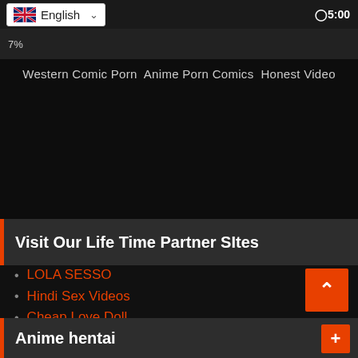English  ∨5:00
Western Comic Porn Anime Porn Comics Honest Video
Visit Our Life Time Partner SItes
LOLA SESSO
Hindi Sex Videos
Cheap Love Doll
ALDOLL.COM
ERODORU.COM
FORTNITE PORN
realistic love dolls
Realistische Sexpuppe
セックス人形
Anime hentai